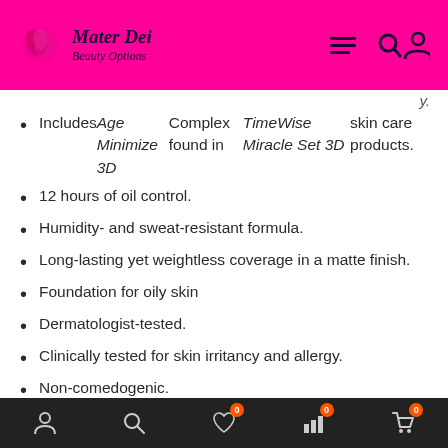Mater Dei Beauty Options
Includes Age Minimize 3D Complex found in TimeWise Miracle Set 3D skin care products.
12 hours of oil control.
Humidity- and sweat-resistant formula.
Long-lasting yet weightless coverage in a matte finish.
Foundation for oily skin
Dermatologist-tested.
Clinically tested for skin irritancy and allergy.
Non-comedogenic.
Suitable for sensitive skin.
Bottom navigation bar with account, search, wishlist (0), analytics (0), cart (0) icons